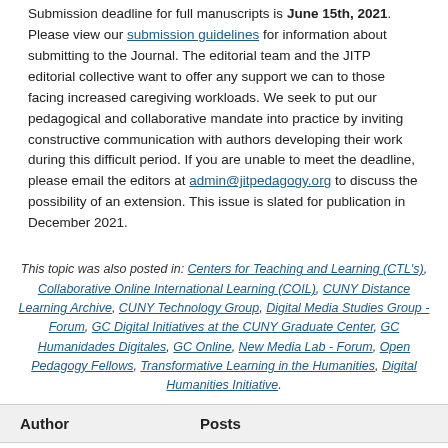Submission deadline for full manuscripts is June 15th, 2021. Please view our submission guidelines for information about submitting to the Journal. The editorial team and the JITP editorial collective want to offer any support we can to those facing increased caregiving workloads. We seek to put our pedagogical and collaborative mandate into practice by inviting constructive communication with authors developing their work during this difficult period. If you are unable to meet the deadline, please email the editors at admin@jitpedagogy.org to discuss the possibility of an extension. This issue is slated for publication in December 2021.
This topic was also posted in: Centers for Teaching and Learning (CTL's), Collaborative Online International Learning (COIL), CUNY Distance Learning Archive, CUNY Technology Group, Digital Media Studies Group - Forum, GC Digital Initiatives at the CUNY Graduate Center, GC Humanidades Digitales, GC Online, New Media Lab - Forum, Open Pedagogy Fellows, Transformative Learning in the Humanities, Digital Humanities Initiative.
| Author | Posts |
| --- | --- |
Viewing 1 post (of 1 total)
You must be logged in to reply to this topic.